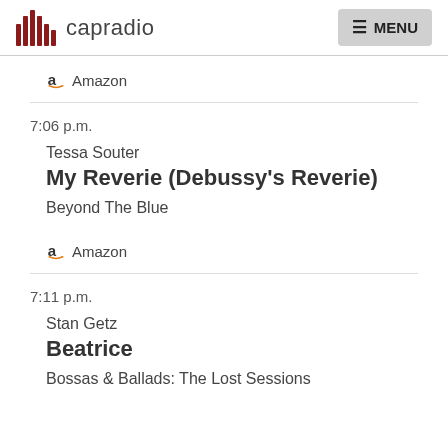capradio MENU
Amazon
7:06 p.m.
Tessa Souter
My Reverie (Debussy's Reverie)
Beyond The Blue
Amazon
7:11 p.m.
Stan Getz
Beatrice
Bossas & Ballads: The Lost Sessions